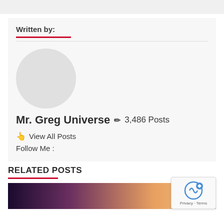Written by:
Mr. Greg Universe ✏ 3,486 Posts
👆 View All Posts
Follow Me :
RELATED POSTS
[Figure (photo): Dark toned image strip at bottom of page, partial view of related posts thumbnail]
[Figure (other): reCAPTCHA widget overlay in bottom right corner showing Privacy - Terms text]